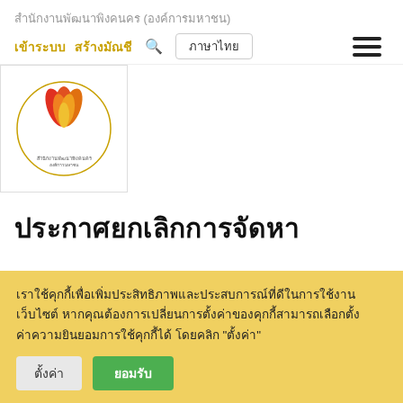สำนักงานพัฒนาพิงคนคร (องค์การมหาชน)
เข้าระบบ  สร้างมัณชี  🔍  ภาษาไทย
[Figure (logo): Logo of สำนักงานพัฒนาพิงคนคร - stylized flame/lotus emblem in red, orange, and gold with Thai text around a circular border]
ประกาศยกเลิกการจัดหา
เราใช้คุกกี้เพื่อเพิ่มประสิทธิภาพและประสบการณ์ที่ดีในการใช้งาน เว็บไซต์ หากคุณต้องการเปลี่ยนการตั้งค่าของคุกกี้สามารถเลือกตั้งค่าความยินยอมการใช้คุกกี้ได้ โดยคลิก "ตั้งค่า"
ตั้งค่า
ยอมรับ